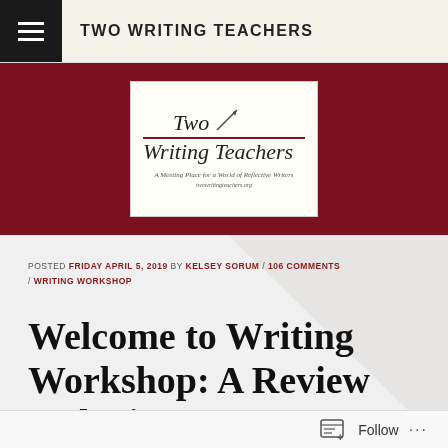TWO WRITING TEACHERS
[Figure (logo): Two Writing Teachers blog logo with stylized text, red underline, pen graphic, and tagline 'A Meeting Place for a World of Reflective Writers']
POSTED FRIDAY APRIL 5, 2019 BY KELSEY SORUM / 106 COMMENTS / WRITING WORKSHOP
Welcome to Writing Workshop: A Review and Giveaway